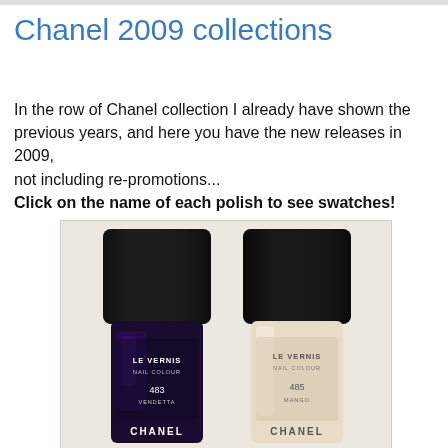Chanel 2009 collections
In the row of Chanel collection I already have shown the previous years, and here you have the new releases in 2009, not including re-promotions...
Click on the name of each polish to see swatches!
[Figure (photo): Two Chanel Le Vernis Nail Colour bottles side by side. Left bottle is dark purple/navy (483 Vendetta), right bottle is nude/cream (485 Mango). Both have black caps and display the Chanel branding.]